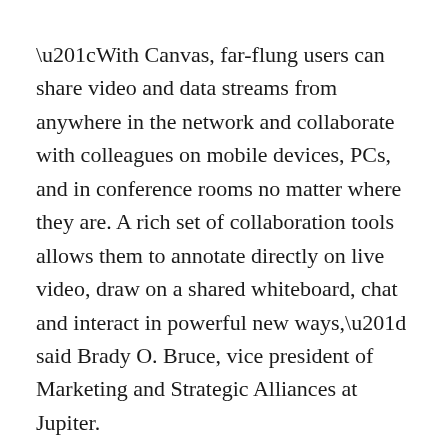“With Canvas, far-flung users can share video and data streams from anywhere in the network and collaborate with colleagues on mobile devices, PCs, and in conference rooms no matter where they are. A rich set of collaboration tools allows them to annotate directly on live video, draw on a shared whiteboard, chat and interact in powerful new ways,” said Brady O. Bruce, vice president of Marketing and Strategic Alliances at Jupiter.
Canvas is already getting attention among enterprises. Some of the enterprise clients include a Fortune 500 healthcare products company with more than a dozen manufacturing operations around the world, a bank that